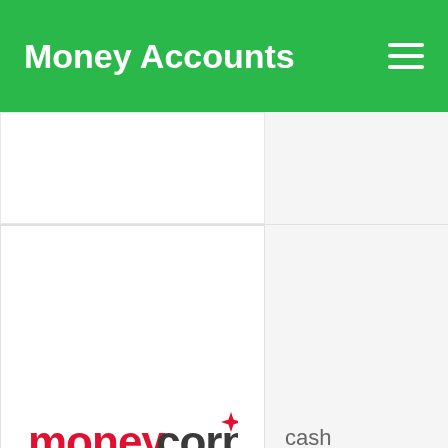Money Accounts
[Figure (logo): Moneycorp logo with red text and red four-pointed star/sparkle icon]
cash